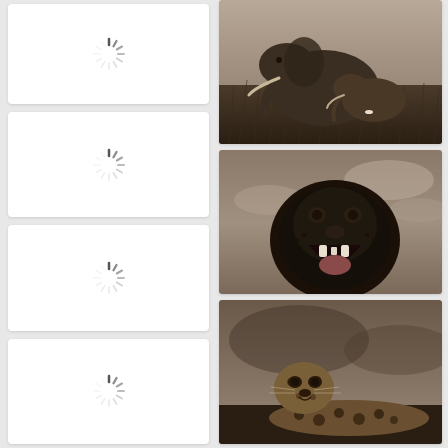[Figure (screenshot): Loading placeholder card 1 with spinner icon on white rounded card]
[Figure (screenshot): Loading placeholder card 2 with spinner icon on white rounded card]
[Figure (screenshot): Loading placeholder card 3 with spinner icon on white rounded card]
[Figure (screenshot): Loading placeholder card 4 with spinner icon on white rounded card (partial)]
[Figure (photo): Sepia-toned photograph of adult and baby elephant standing in tall grass]
[Figure (photo): Sepia-toned photograph of a roaring lion with dark mane against cloudy sky]
[Figure (photo): Sepia-toned photograph of a leopard lying on ground looking upward]